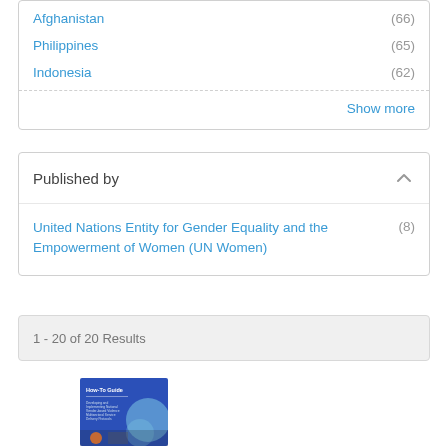Afghanistan (66)
Philippines (65)
Indonesia (62)
Show more
Published by
United Nations Entity for Gender Equality and the Empowerment of Women (UN Women) (8)
1 - 20 of 20 Results
[Figure (photo): Thumbnail cover of a How-To Guide booklet with blue background and circular design elements]